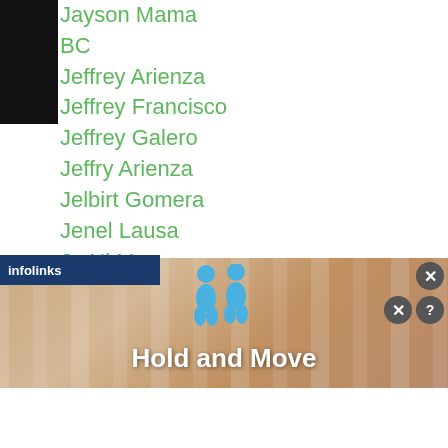Jayson Mama
BC
Jeffrey Arienza
Jeffrey Francisco
Jeffrey Galero
Jeffry Arienza
Jelbirt Gomera
Jenel Lausa
Je Ni Ma
Jeno Macapobre
Jeny Boy Boca
Jeong Han Cha
Jeo Santisima
Jerald Paclar
Jeronil Borres
astroverde
[Figure (screenshot): Advertisement banner with 'Hold and Move' text, two blue figure icons, and close/help buttons. Infolinks label visible at bottom left.]